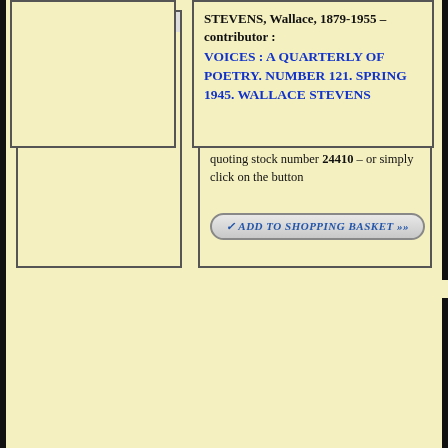white stapled wrappers, lettered in black; very good.
£25
To purchase, call us or e-mail us at books@ashrare.com quoting stock number 24410 – or simply click on the button
[Figure (other): Book cover image placeholder (top entry)]
[Figure (other): Book cover image placeholder (bottom entry)]
STEVENS, Wallace, 1879-1955 – contributor : VOICES : A QUARTERLY OF POETRY. NUMBER 121. SPRING 1945. WALLACE STEVENS